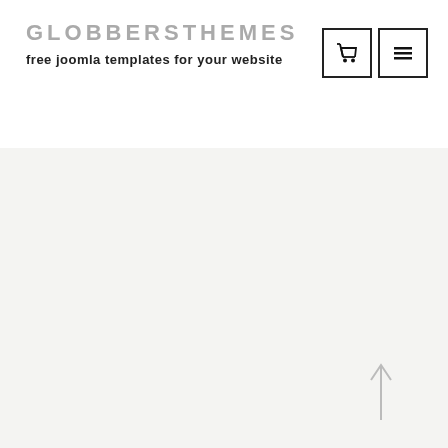GLOBBERSTHEMES
free joomla templates for your website
[Figure (illustration): Shopping cart icon in a square border]
[Figure (illustration): Hamburger menu icon in a square border]
[Figure (illustration): Back to top arrow (upward pointing arrow)]